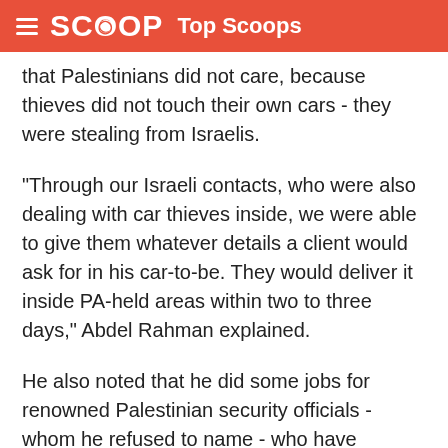SCOOP Top Scoops
that Palestinians did not care, because thieves did not touch their own cars - they were stealing from Israelis.
"Through our Israeli contacts, who were also dealing with car thieves inside, we were able to give them whatever details a client would ask for in his car-to-be. They would deliver it inside PA-held areas within two to three days," Abdel Rahman explained.
He also noted that he did some jobs for renowned Palestinian security officials - whom he refused to name - who have requested exotic cars or special high-end jeeps.